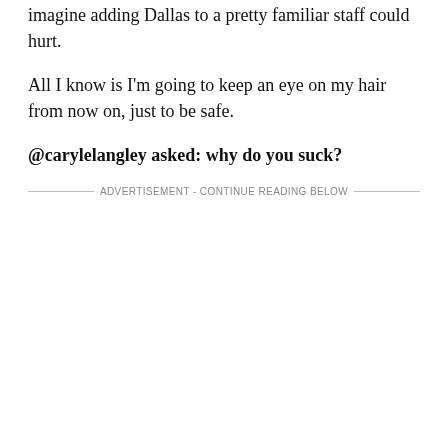imagine adding Dallas to a pretty familiar staff could hurt.
All I know is I'm going to keep an eye on my hair from now on, just to be safe.
@carylelangley asked: why do you suck?
ADVERTISEMENT - CONTINUE READING BELOW